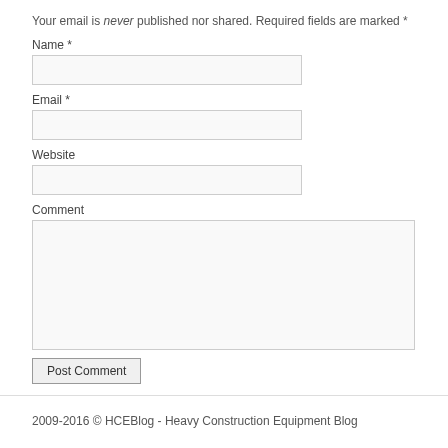Your email is never published nor shared. Required fields are marked *
Name *
Email *
Website
Comment
Post Comment
2009-2016 © HCEBlog - Heavy Construction Equipment Blog